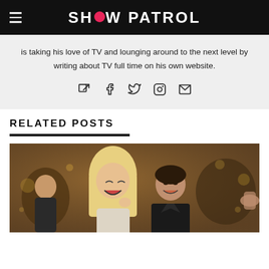SHOW PATROL
is taking his love of TV and lounging around to the next level by writing about TV full time on his own website.
[Figure (infographic): Social media icons: external link, Facebook, Twitter, Instagram, Email]
RELATED POSTS
[Figure (photo): Photo of a laughing blonde woman and a man in a dark jacket at what appears to be a party or event]